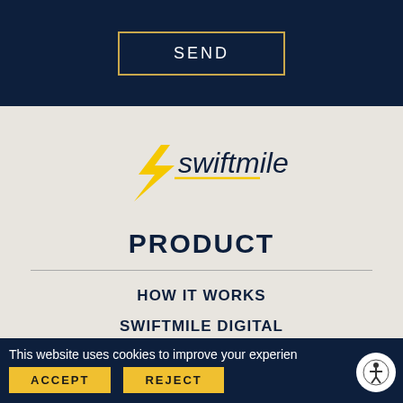SEND
[Figure (logo): Swiftmile logo with yellow lightning bolt and italic dark navy text 'swiftmile']
PRODUCT
HOW IT WORKS
SWIFTMILE DIGITAL
OUR TECHNOLOGY
This website uses cookies to improve your experien
ACCEPT
REJECT